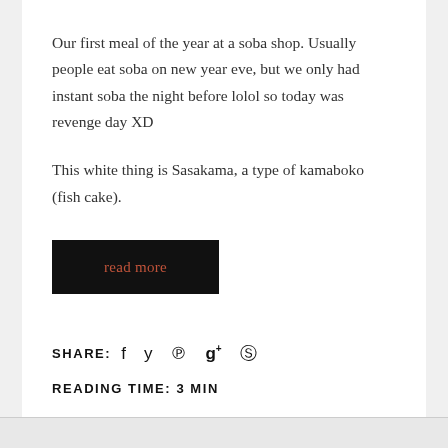Our first meal of the year at a soba shop. Usually people eat soba on new year eve, but we only had instant soba the night before lolol so today was revenge day XD
This white thing is Sasakama, a type of kamaboko (fish cake).
read more
SHARE:
READING TIME: 3 MIN